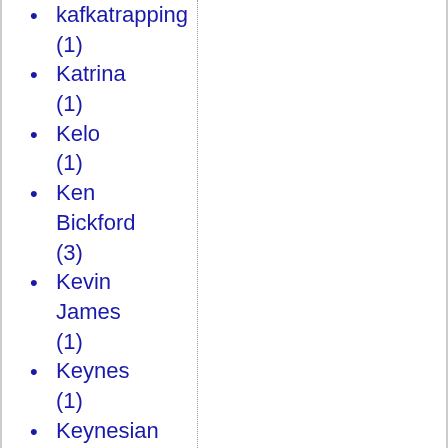kafkatrapping (1)
Katrina (1)
Kelo (1)
Ken Bickford (3)
Kevin James (1)
Keynes (1)
Keynesian economics (1)
Keynesianism (3)
Khmer Rouge (1)
Kim Davis (1)